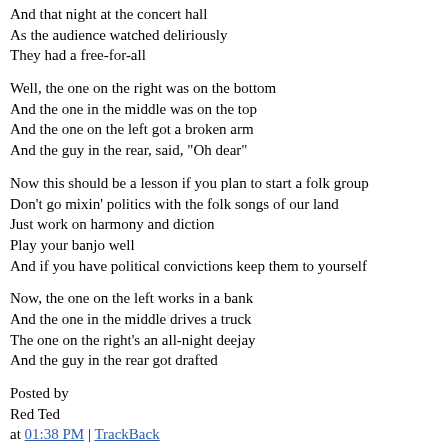And that night at the concert hall
As the audience watched deliriously
They had a free-for-all
Well, the one on the right was on the bottom
And the one in the middle was on the top
And the one on the left got a broken arm
And the guy in the rear, said, "Oh dear"
Now this should be a lesson if you plan to start a folk group
Don't go mixin' politics with the folk songs of our land
Just work on harmony and diction
Play your banjo well
And if you have political convictions keep them to yourself
Now, the one on the left works in a bank
And the one in the middle drives a truck
The one on the right's an all-night deejay
And the guy in the rear got drafted
Posted by
Red Ted
at 01:38 PM | TrackBack
February Calendar
GWB v RMN ?